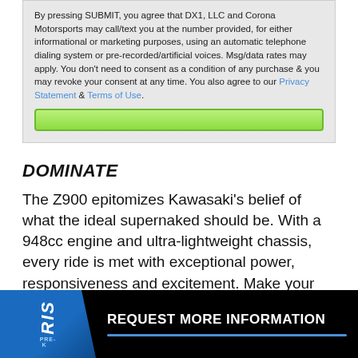By pressing SUBMIT, you agree that DX1, LLC and Corona Motorsports may call/text you at the number provided, for either informational or marketing purposes, using an automatic telephone dialing system or pre-recorded/artificial voices. Msg/data rates may apply. You don't need to consent as a condition of any purchase & you may revoke your consent at any time. You also agree to our Privacy Statement & Terms of Use.
DOMINATE
The Z900 epitomizes Kawasaki's belief of what the ideal supernaked should be. With a 948cc engine and ultra-lightweight chassis, every ride is met with exceptional power, responsiveness and excitement. Make your presence known on the streets with signature Sugomi™ inspired styling and a commanding ride position.
REQUEST MORE INFORMATION